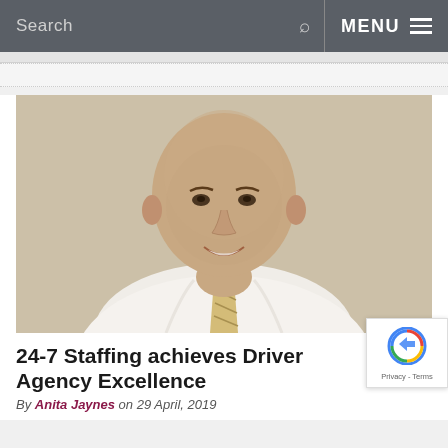Search  MENU
[Figure (photo): Professional headshot of a bald man in a white shirt and light striped tie, smiling, against a light beige background.]
24-7 Staffing achieves Driver Agency Excellence
By Anita Jaynes on 29 April, 2019